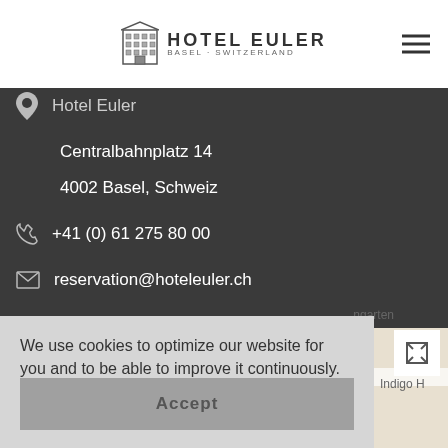HOTEL EULER — Basel, Switzerland (logo header with hamburger menu)
Hotel Euler
Centralbahnplatz 14
4002 Basel, Schweiz
+41 (0) 61 275 80 00
reservation@hoteleuler.ch
We use cookies to optimize our website for you and to be able to improve it continuously. By continuing to use the website, you agree to the use of cookies.
Privacy police
Accept
[Figure (map): Street map showing area around Hotel Euler Basel with roads and labels including 'Indigo H' and 'und Handelsschule...']